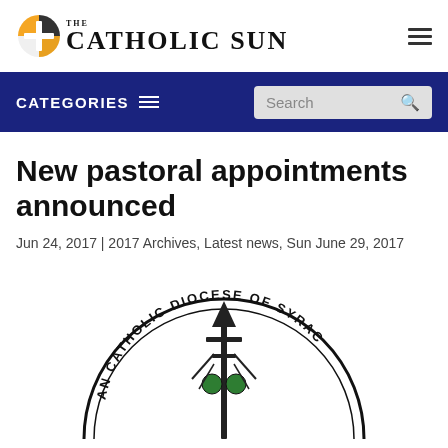THE CATHOLIC SUN
CATEGORIES
New pastoral appointments announced
Jun 24, 2017 | 2017 Archives, Latest news, Sun June 29, 2017
[Figure (logo): Roman Catholic Diocese of Syracuse circular seal/logo, partially visible, showing a bishop's cross and the text 'AN CATHOLIC DIOCESE OF SYRAC']